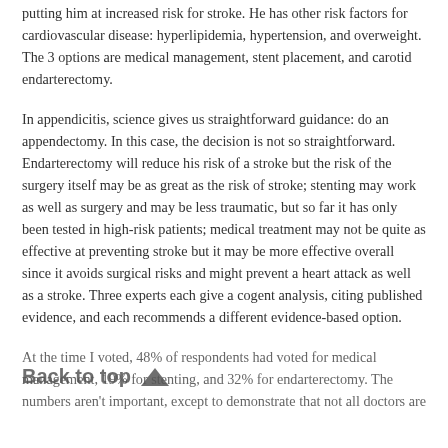putting him at increased risk for stroke. He has other risk factors for cardiovascular disease: hyperlipidemia, hypertension, and overweight. The 3 options are medical management, stent placement, and carotid endarterectomy.
In appendicitis, science gives us straightforward guidance: do an appendectomy. In this case, the decision is not so straightforward. Endarterectomy will reduce his risk of a stroke but the risk of the surgery itself may be as great as the risk of stroke; stenting may work as well as surgery and may be less traumatic, but so far it has only been tested in high-risk patients; medical treatment may not be quite as effective at preventing stroke but it may be more effective overall since it avoids surgical risks and might prevent a heart attack as well as a stroke. Three experts each give a cogent analysis, citing published evidence, and each recommends a different evidence-based option.
At the time I voted, 48% of respondents had voted for medical management, 19% for stenting, and 32% for endarterectomy. The numbers aren't important, except to demonstrate that not all doctors are